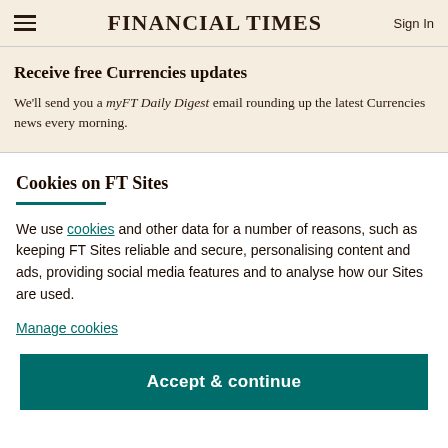FINANCIAL TIMES | Sign In
Receive free Currencies updates
We'll send you a myFT Daily Digest email rounding up the latest Currencies news every morning.
Cookies on FT Sites
We use cookies and other data for a number of reasons, such as keeping FT Sites reliable and secure, personalising content and ads, providing social media features and to analyse how our Sites are used.
Manage cookies
Accept & continue